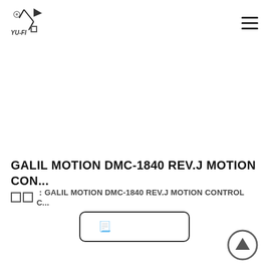[Figure (logo): YU-FI company logo with stylized figure and squares]
GALIL MOTION DMC-1840 REV.J MOTION CON...
□□ : GALIL MOTION DMC-1840 REV.J MOTION CONTROL C...
目録 ■■■■■